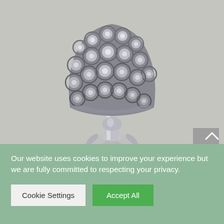[Figure (photo): A decorative crystal and silver goblet/candle holder with circular crystal embellishments on the cup portion and a floral base, photographed against a light gray background.]
Our website uses cookies to improve your experience but we are fully committed to respecting your privacy.
Cookie Settings
Accept All